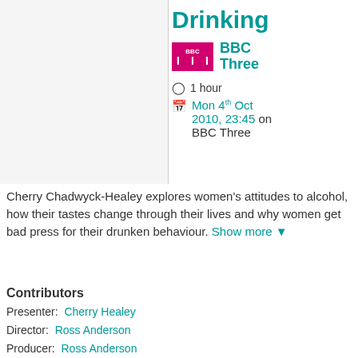Drinking
[Figure (logo): BBC Three logo - pink/magenta square with BBC III text in white]
BBC Three
1 hour
Mon 4th Oct 2010, 23:45 on BBC Three
Cherry Chadwyck-Healey explores women's attitudes to alcohol, how their tastes change through their lives and why women get bad press for their drunken behaviour. Show more
Contributors
Presenter: Cherry Healey
Director: Ross Anderson
Producer: Ross Anderson
Executive Producer: Donna Clark